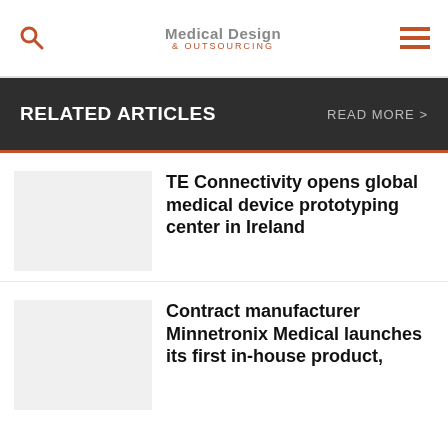Medical Design & OUTSOURCING
RELATED ARTICLES   READ MORE >
TE Connectivity opens global medical device prototyping center in Ireland
Contract manufacturer Minnetronix Medical launches its first in-house product,